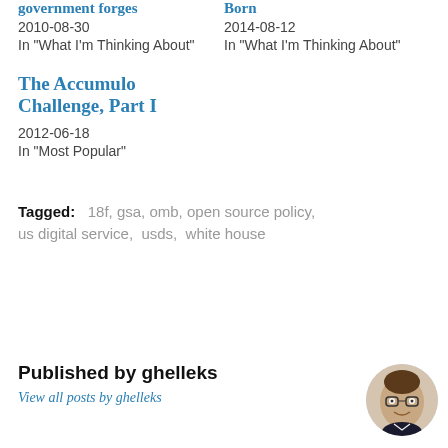government forges
Born
2010-08-30
2014-08-12
In "What I'm Thinking About"
In "What I'm Thinking About"
The Accumulo Challenge, Part I
2012-06-18
In "Most Popular"
Tagged: 18f, gsa, omb, open source policy, us digital service, usds, white house
Published by ghelleks
View all posts by ghelleks